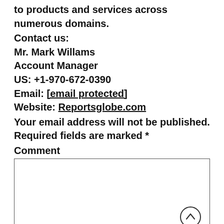to products and services across numerous domains.
Contact us:
Mr. Mark Willams
Account Manager
US: +1-970-672-0390
Email: [email protected]
Website: Reportsglobe.com
Your email address will not be published. Required fields are marked *
Comment
[Figure (other): Comment text area input box with scroll-to-top button (circle with up arrow) in bottom right corner]